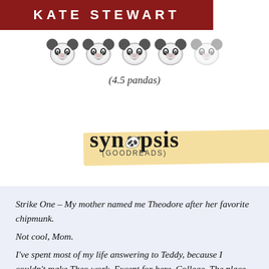KATE STEWART
[Figure (illustration): Five panda face emojis in a row representing a 4.5 panda rating, the last panda appearing faded/halved]
(4.5 pandas)
[Figure (illustration): Stylized handwritten 'synopsis' logo with a yellow brush stroke background and '(GOODREADS)' subtitle]
Strike One – My mother named me Theodore after her favorite chipmunk.
Not cool, Mom.
I've spent most of my life answering to Teddy, because I couldn't make Theo work. Except for here. College. The place where all bets are off, and I've managed to redeem myself.